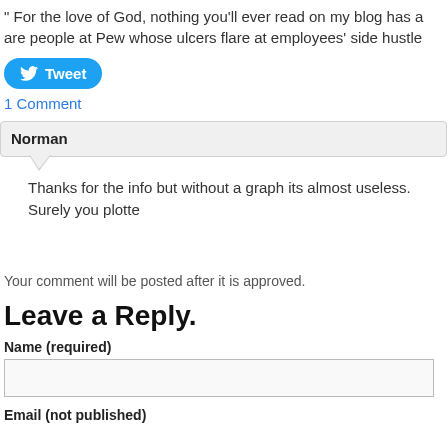" For the love of God, nothing you'll ever read on my blog has a are people at Pew whose ulcers flare at employees' side hustle
[Figure (other): Tweet button - blue rounded button with Twitter bird icon and 'Tweet' label]
1 Comment
Norman
Thanks for the info but without a graph its almost useless. Surely you plotte
Your comment will be posted after it is approved.
Leave a Reply.
Name (required)
Email (not published)